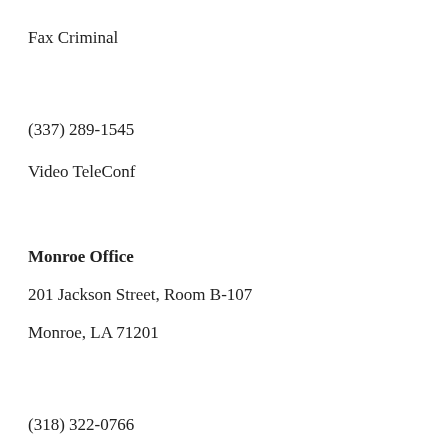Fax Criminal
(337) 289-1545
Video TeleConf
Monroe Office
201 Jackson Street, Room B-107
Monroe, LA 71201
(318) 322-0766
Main